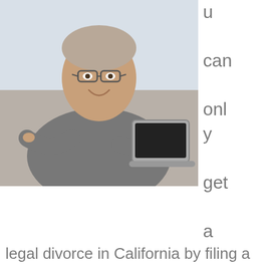[Figure (photo): A middle-aged man wearing glasses and a grey shirt, smiling and pointing at a laptop screen he is holding, photographed in an office-like environment.]
u can only get a legal divorce in California by filing a properly-prepared batch of specific documents at your local Superior Court, serving them on your spouse together with a larger batch of more complex property/debt/income disclosure docs, waiting 31 days (in most cases) and then filing another very large batch of